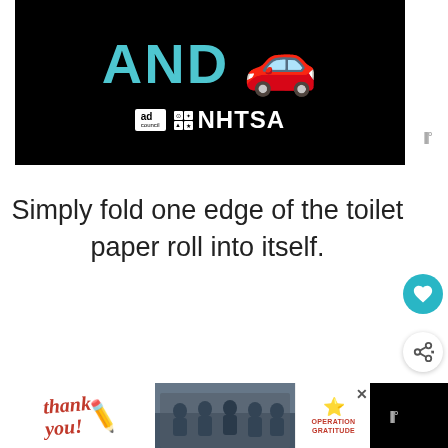[Figure (screenshot): Ad banner on black background showing 'AND' in teal text and a red car emoji, with Ad Council and NHTSA logos below]
Simply fold one edge of the toilet paper roll into itself.
[Figure (screenshot): Bottom advertisement banner: 'Thank you!' handwritten text with pencil graphic, photo of firefighters, Operation Gratitude logo, and close button]